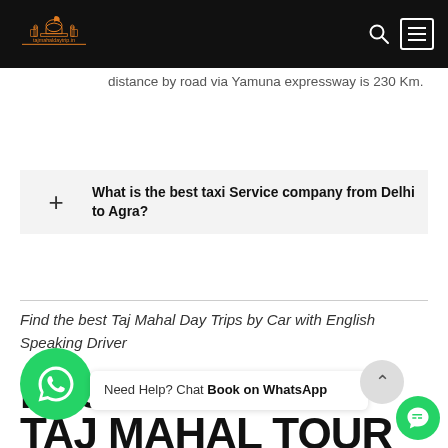tajmahaldaytrip.in — navigation header with logo, search icon, and menu button
distance by road via Yamuna expressway is 230 Km.
What is the best taxi Service company from Delhi to Agra?
Find the best Taj Mahal Day Trips by Car with English Speaking Driver
RECOMMENDED TAJ MAHAL TOUR